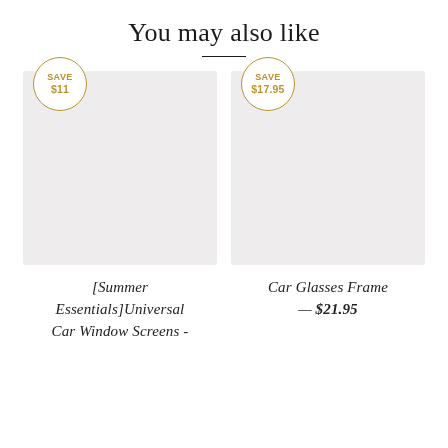You may also like
[Figure (photo): Product image placeholder (gray rectangle) for [Summer Essentials]Universal Car Window Screens with a SAVE $11 badge]
[Summer Essentials]Universal Car Window Screens -
[Figure (photo): Product image placeholder (gray rectangle) for Car Glasses Frame with a SAVE $17.95 badge]
Car Glasses Frame — $21.95